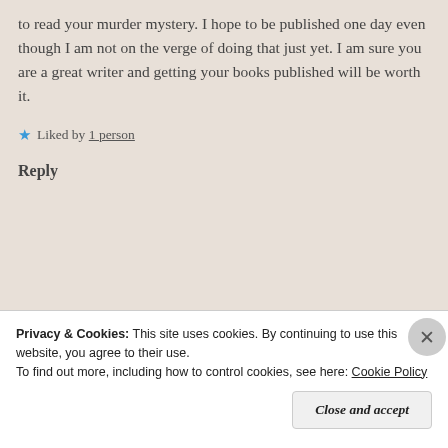to read your murder mystery. I hope to be published one day even though I am not on the verge of doing that just yet. I am sure you are a great writer and getting your books published will be worth it.
★ Liked by 1 person
Reply
Privacy & Cookies: This site uses cookies. By continuing to use this website, you agree to their use.
To find out more, including how to control cookies, see here: Cookie Policy
Close and accept